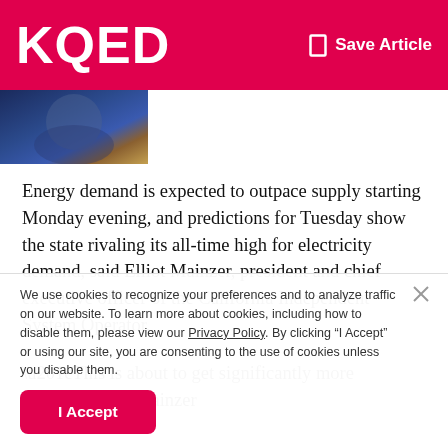KQED | Save Article
[Figure (photo): Partial photo strip at top left, showing a person with warm/golden tones and blue background]
Energy demand is expected to outpace supply starting Monday evening, and predictions for Tuesday show the state rivaling its all-time high for electricity demand, said Elliot Mainzer, president and chief executive officer of the California Independent System Operator.
“This is about to get significantly more intense,” Mainzer
We use cookies to recognize your preferences and to analyze traffic on our website. To learn more about cookies, including how to disable them, please view our Privacy Policy. By clicking “I Accept” or using our site, you are consenting to the use of cookies unless you disable them.
I Accept